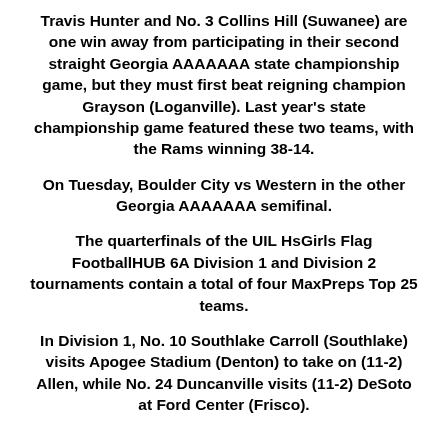Travis Hunter and No. 3 Collins Hill (Suwanee) are one win away from participating in their second straight Georgia AAAAAAA state championship game, but they must first beat reigning champion Grayson (Loganville). Last year's state championship game featured these two teams, with the Rams winning 38-14.
On Tuesday, Boulder City vs Western in the other Georgia AAAAAAA semifinal.
The quarterfinals of the UIL HsGirls Flag FootballHUB 6A Division 1 and Division 2 tournaments contain a total of four MaxPreps Top 25 teams.
In Division 1, No. 10 Southlake Carroll (Southlake) visits Apogee Stadium (Denton) to take on (11-2) Allen, while No. 24 Duncanville visits (11-2) DeSoto at Ford Center (Frisco).